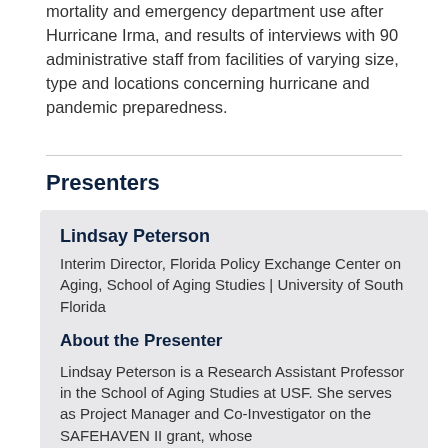mortality and emergency department use after Hurricane Irma, and results of interviews with 90 administrative staff from facilities of varying size, type and locations concerning hurricane and pandemic preparedness.
Presenters
Lindsay Peterson
Interim Director, Florida Policy Exchange Center on Aging, School of Aging Studies | University of South Florida
About the Presenter
Lindsay Peterson is a Research Assistant Professor in the School of Aging Studies at USF. She serves as Project Manager and Co-Investigator on the SAFEHAVEN II grant, whose